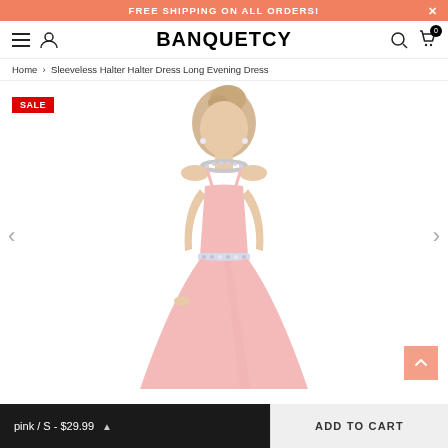FREE SHIPPING ON ALL ORDERS!
BANQUETCY
Home › Sleeveless Halter Halter Dress Long Evening Dress
[Figure (photo): Model wearing a pink sleeveless halter long evening dress with beaded waist detail and jeweled neckline, with a red SALE badge in the top-left corner]
pink / S - $29.99
ADD TO CART